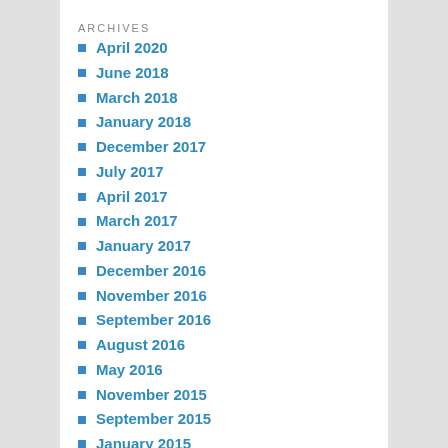ARCHIVES
April 2020
June 2018
March 2018
January 2018
December 2017
July 2017
April 2017
March 2017
January 2017
December 2016
November 2016
September 2016
August 2016
May 2016
November 2015
September 2015
January 2015
December 2014
November 2014
September 2014